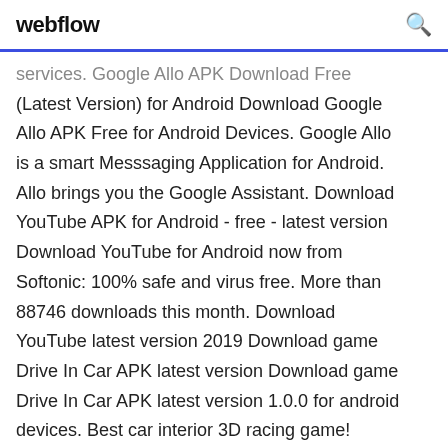webflow
services. Google Allo APK Download Free (Latest Version) for Android Download Google Allo APK Free for Android Devices. Google Allo is a smart Messsaging Application for Android. Allo brings you the Google Assistant. Download YouTube APK for Android - free - latest version Download YouTube for Android now from Softonic: 100% safe and virus free. More than 88746 downloads this month. Download YouTube latest version 2019 Download game Drive In Car APK latest version Download game Drive In Car APK latest version 1.0.0 for android devices. Best car interior 3D racing game!
Google Drive on the App Store Download